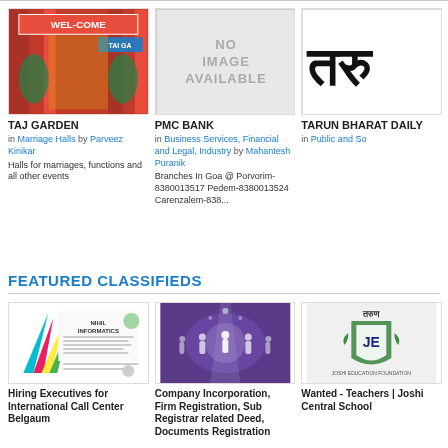[Figure (photo): Welcome banner photo - Taj Garden marriage hall with red curtains and signage]
TAJ GARDEN
in Marriage Halls by Parveez Kinikar
Halls for marriages, functions and all other events
[Figure (photo): No Image Available placeholder]
PMC BANK
in Business Services, Financial and Legal, Industry by Mahantesh Puranik
Branches In Goa @ Porvorim-8380013517 Pedem-8380013524 Carenzalem-838...
[Figure (photo): Tarun Bharat Daily newspaper logo in Devanagari script]
TARUN BHARAT DAILY
in Public and So
FEATURED CLASSIFIEDS
[Figure (photo): Nihil Informatics hiring flyer for International Call Center Belgaum]
Hiring Executives for International Call Center Belgaum
[Figure (photo): Purple-toned image of silhouetted people representing company incorporation services]
Company Incorporation, Firm Registration, Sub Registrar related Deed, Documents Registration
[Figure (photo): Joshi Central School logo and emblem]
Wanted - Teachers | Joshi Central School